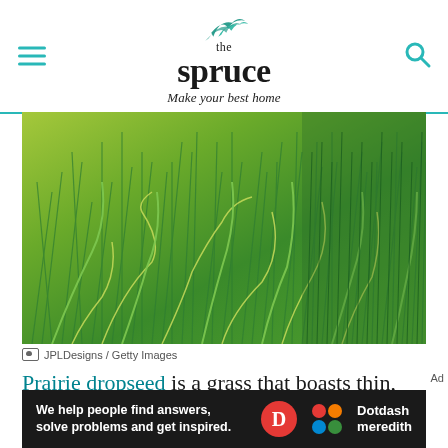the spruce — Make your best home
[Figure (photo): Close-up photo of prairie dropseed grass with thin, airy green blades in a dense clump. The grass has a light yellow-green color with wispy, arching stems.]
JPLDesigns / Getty Images
Prairie dropseed is a grass that boasts thin, airy leaves, giving it an overall weeping shape once
[Figure (other): Dotdash Meredith advertisement banner. Text: We help people find answers, solve problems and get inspired. Dotdash meredith logo with colorful dots.]